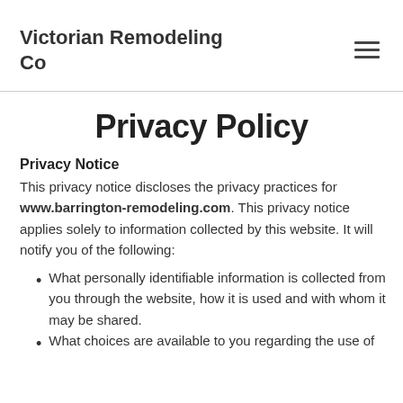Victorian Remodeling Co
Privacy Policy
Privacy Notice
This privacy notice discloses the privacy practices for www.barrington-remodeling.com. This privacy notice applies solely to information collected by this website. It will notify you of the following:
What personally identifiable information is collected from you through the website, how it is used and with whom it may be shared.
What choices are available to you regarding the use of